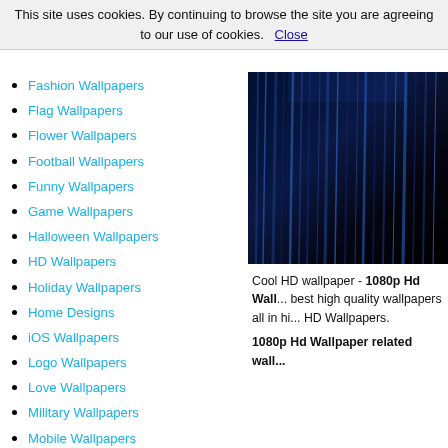This site uses cookies. By continuing to browse the site you are agreeing to our use of cookies.   Close
Fashion Wallpapers
Flag Wallpapers
Flower Wallpapers
Football Wallpapers
Funny Wallpapers
Game Wallpapers
Halloween Wallpapers
HD Wallpapers
Holiday Wallpapers
Home Designs
iOS Wallpapers
Logo Wallpapers
Love Wallpapers
Military Wallpapers
Mobile Wallpapers
Mountain Wallpapers
Movie Wallpapers
Nature Wallpapers
Occasions Wallpapers
Religion
Skulls
Snow Wallpapers
Space Wallpapers
Sport Wallpapers
Tattoo Wallpapers
Travel Wallpapers
Water Wallpapers
Wedding Wallpapers
[Figure (photo): Dark abstract wallpaper with blue-tinted vertical streaks/lines against black background]
Cool HD wallpaper - 1080p Hd Wall... best high quality wallpapers all in hi... HD Wallpapers.
1080p Hd Wallpaper related wall...